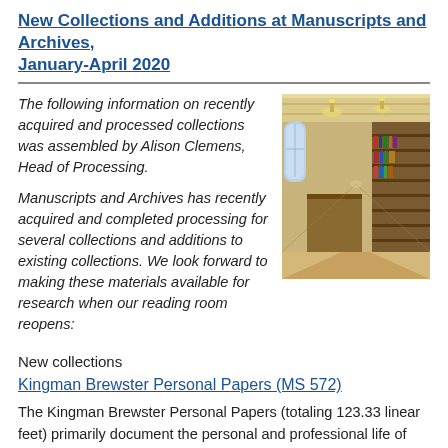New Collections and Additions at Manuscripts and Archives, January-April 2020
The following information on recently acquired and processed collections was assembled by Alison Clemens, Head of Processing.
Manuscripts and Archives has recently acquired and completed processing for several collections and additions to existing collections. We look forward to making these materials available for research when our reading room reopens:
[Figure (photo): Interior of a grand library reading room with tall wooden shelves, chandeliers, arched windows, and a long carpeted aisle.]
New collections
Kingman Brewster Personal Papers (MS 572)
The Kingman Brewster Personal Papers (totaling 123.33 linear feet) primarily document the personal and professional life of Brewster as a Harvard faculty member (1950-1960) and Ambassador to Great Britain (1977-1981). The papers also include informative (but limited) material from 1940 to 1950. The most substantive material in the collection is that created by Brewster himself. Correspondence, unpublished writings, speeches, and interviews, provide extensive documentation of his interests and expertise, including in the areas of the role of